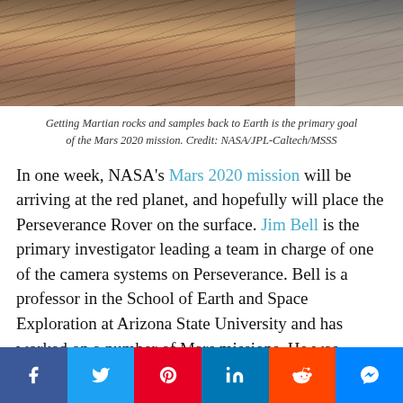[Figure (photo): Photograph of Martian rocky terrain surface, showing layered red-brown rocks and stones. Sky visible at upper right.]
Getting Martian rocks and samples back to Earth is the primary goal of the Mars 2020 mission. Credit: NASA/JPL-Caltech/MSSS
In one week, NASA’s Mars 2020 mission will be arriving at the red planet, and hopefully will place the Perseverance Rover on the surface. Jim Bell is the primary investigator leading a team in charge of one of the camera systems on Perseverance. Bell is a professor in the School of Earth and Space Exploration at Arizona State University and has worked on a number of Mars missions. He was interviewed recently for The Conversation’s new podcast, The Conversation Weekly.
[Figure (infographic): Social media sharing bar with icons for Facebook, Twitter, Pinterest, LinkedIn, Reddit, and Messenger]